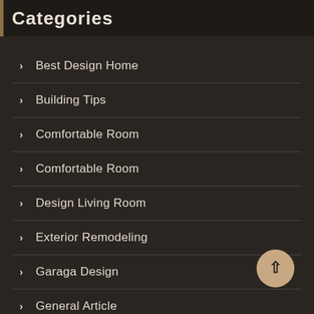Categories
Best Design Home
Building Tips
Comfortable Room
Comfortable Room
Design Living Room
Exterior Remodeling
Garaga Design
General Article
Handyman
Healthy Home